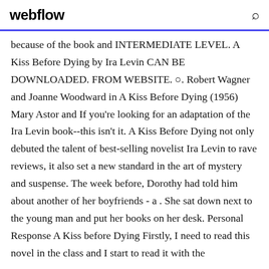webflow
because of the book and INTERMEDIATE LEVEL. A Kiss Before Dying by Ira Levin CAN BE DOWNLOADED. FROM WEBSITE. ○. Robert Wagner and Joanne Woodward in A Kiss Before Dying (1956) Mary Astor and If you're looking for an adaptation of the Ira Levin book--this isn't it. A Kiss Before Dying not only debuted the talent of best-selling novelist Ira Levin to rave reviews, it also set a new standard in the art of mystery and suspense. The week before, Dorothy had told him about another of her boyfriends - a . She sat down next to the young man and put her books on her desk. Personal Response A Kiss before Dying Firstly, I need to read this novel in the class and I start to read it with the